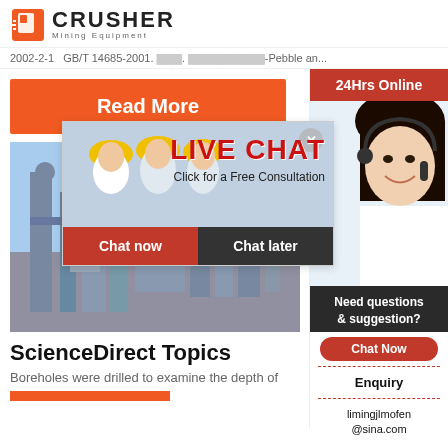CRUSHER Mining Equipment
2002-2-1  GB/T 14685-2001. [text]. [text]-Pebble an...
[Figure (screenshot): Orange Read More button on white background]
[Figure (photo): Industrial facility with pipes and structures]
[Figure (screenshot): Live Chat overlay with workers in yellow hard hats, LIVE CHAT heading in red, Chat now and Chat later buttons]
[Figure (photo): Customer service woman wearing headset on right sidebar]
ScienceDirect Topics
Boreholes were drilled to examine the depth of
24Hrs Online
Need questions & suggestion?
Chat Now
Enquiry
limingjlmofen@sina.com